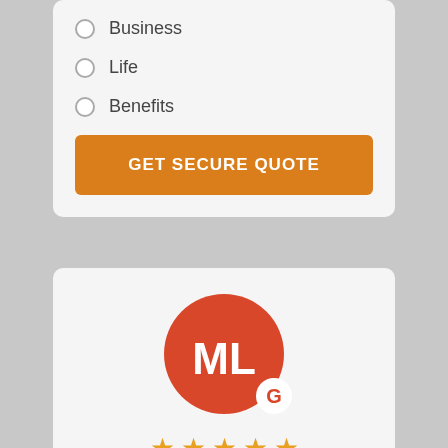Business
Life
Benefits
GET SECURE QUOTE
[Figure (illustration): User avatar with initials ML in a red circle, with a Google G badge overlay, followed by five gold stars and the text 5-Star!]
5-Star!